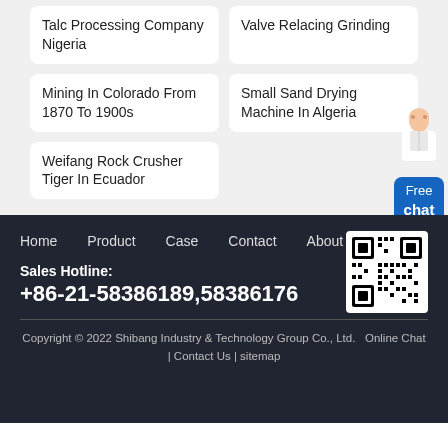Talc Processing Company Nigeria
Valve Relacing Grinding
Mining In Colorado From 1870 To 1900s
Small Sand Drying Machine In Algeria
Weifang Rock Crusher Tiger In Ecuador
Free chat
Home   Product   Case   Contact   About
[Figure (other): QR code for Shibang Industry & Technology Group]
Sales Hotline:
+86-21-58386189,58386176
Copyright © 2022 Shibang Industry & Technology Group Co., Ltd.   Online Chat | Contact Us | sitemap